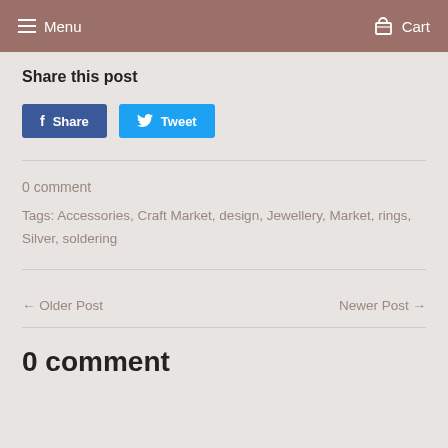Menu  Cart
Share this post
Share  Tweet
0 comment
Tags: Accessories, Craft Market, design, Jewellery, Market, rings, Silver, soldering
← Older Post  Newer Post →
0 comment